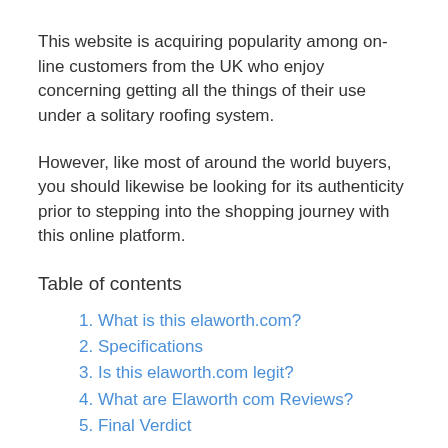This website is acquiring popularity among on-line customers from the UK who enjoy concerning getting all the things of their use under a solitary roofing system.
However, like most of around the world buyers, you should likewise be looking for its authenticity prior to stepping into the shopping journey with this online platform.
Table of contents
What is this elaworth.com?
Specifications
Is this elaworth.com legit?
What are Elaworth com Reviews?
Final Verdict